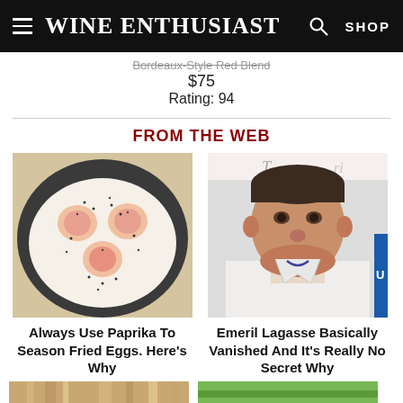Wine Enthusiast — SHOP
Bordeaux-Style Red Blend
$75
Rating: 94
FROM THE WEB
[Figure (photo): Fried eggs with pepper in a pan, viewed from above]
Always Use Paprika To Season Fried Eggs. Here's Why
[Figure (photo): Portrait photo of Emeril Lagasse]
Emeril Lagasse Basically Vanished And It's Really No Secret Why
[Figure (photo): Partial bottom image, left side]
[Figure (photo): Partial bottom image, right side (green/watermelon)]